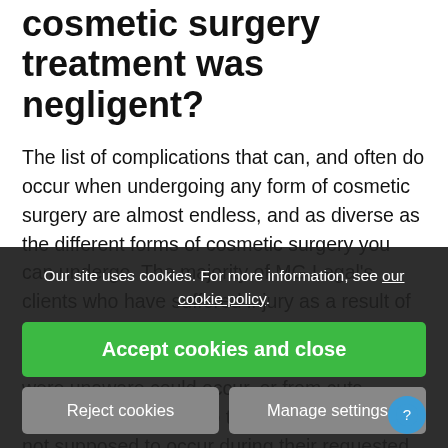cosmetic surgery treatment was negligent?
The list of complications that can, and often do occur when undergoing any form of cosmetic surgery are almost endless, and as diverse as the different forms of cosmetic surgery you can undergo. The majority of MG Legal's clients who have suffered injury as a result of negligent, or botched cosmetic surgery, have suffered post-surgery infection, of which they were unaware could occur, or from cuts, lacerations, or burns to their body, which were not supposed to occur during their requested surgery. If then, the answer is, if you've undergone cosmetic surgery, by the National Health Service, or you have sought private treatment, or if a surgeon was negligent, in their actions or omissions, then you could be entitled
Our site uses cookies. For more information, see our cookie policy.
Accept cookies and close
Reject cookies
Manage settings